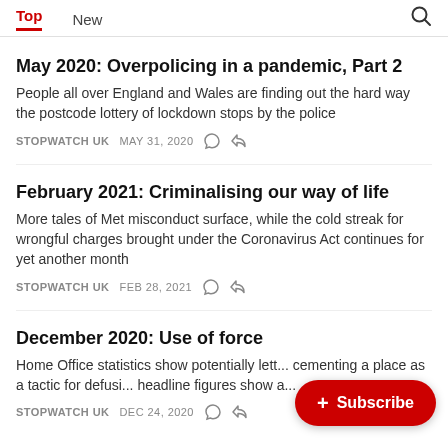Top   New
May 2020: Overpolicing in a pandemic, Part 2
People all over England and Wales are finding out the hard way the postcode lottery of lockdown stops by the police
STOPWATCH UK   MAY 31, 2020
February 2021: Criminalising our way of life
More tales of Met misconduct surface, while the cold streak for wrongful charges brought under the Coronavirus Act continues for yet another month
STOPWATCH UK   FEB 28, 2021
December 2020: Use of force
Home Office statistics show potentially lett... cementing a place as a tactic for defusi... headline figures show a...
STOPWATCH UK   DEC 24, 2020